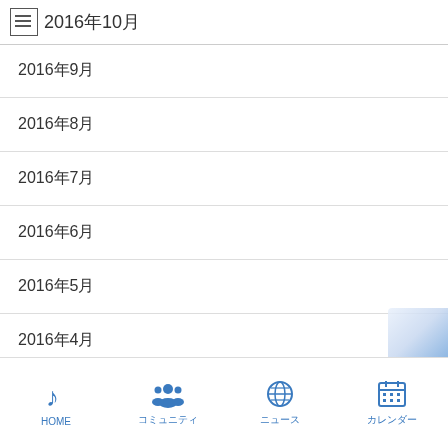≡ 2016年10月
2016年9月
2016年8月
2016年7月
2016年6月
2016年5月
2016年4月
2016年3月
2016年2月
2016年1月 (faded/partial)
HOME　　コミュニティ　　ニュース　　カレンダー